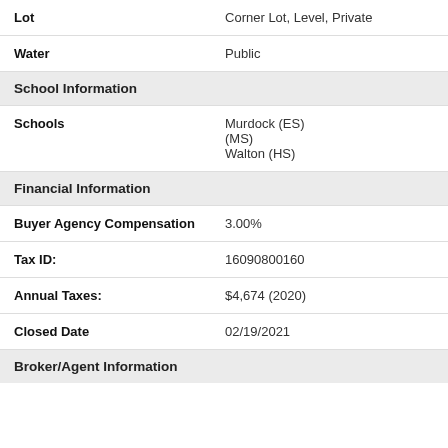| Lot | Corner Lot, Level, Private |
| Water | Public |
| School Information |  |
| Schools | Murdock (ES)
(MS)
Walton (HS) |
| Financial Information |  |
| Buyer Agency Compensation | 3.00% |
| Tax ID: | 16090800160 |
| Annual Taxes: | $4,674 (2020) |
| Closed Date | 02/19/2021 |
| Broker/Agent Information |  |